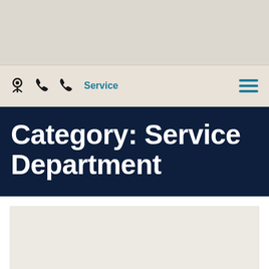[Figure (screenshot): Top beige/tan banner area, empty]
Service
Category: Service Department
[Figure (other): Light beige content placeholder area below the title bar]